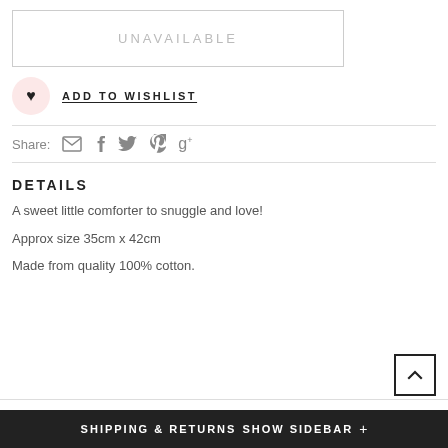UNAVAILABLE
ADD TO WISHLIST
Share:
DETAILS
A sweet little comforter to snuggle and love!
Approx size 35cm x 42cm
Made from quality 100% cotton.
SHIPPING & RETURNS
SHOW SIDEBAR +